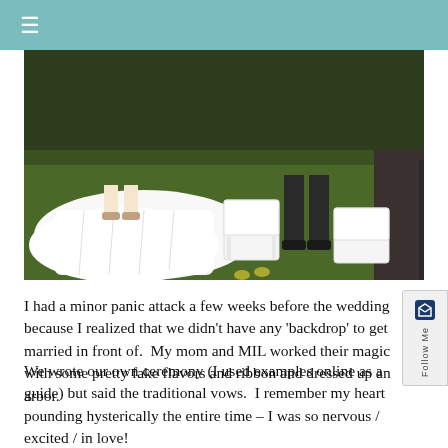≡
[Figure (photo): Outdoor wedding scene showing the bottom of a white wedding dress train on grass, white folding chairs with yellow flower decorations, and people in dark clothing standing nearby.]
I had a minor panic attack a few weeks before the wedding because I realized that we didn't have any 'backdrop' to get married in front of.  My mom and MIL worked their magic with some pretty fake flavors and ribbon and dressed up an arbor.
We wrote our own ceremony (I used examples online as a guide) but said the traditional vows.  I remember my heart pounding hysterically the entire time – I was so nervous / excited / in love!